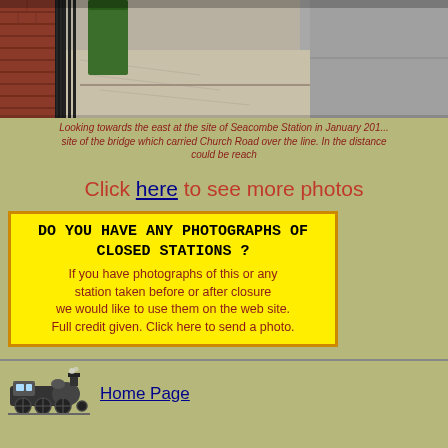[Figure (photo): Photo looking east at the site of Seacombe Station in January 2012, showing pavement, railings, brick wall, green bin, and road surface]
Looking towards the east at the site of Seacombe Station in January 201... site of the bridge which carried Church Road over the line. In the distance could be reach
Click here to see more photos
DO YOU HAVE ANY PHOTOGRAPHS OF CLOSED STATIONS ? If you have photographs of this or any station taken before or after closure we would like to use them on the web site. Full credit given. Click here to send a photo.
[Figure (illustration): Black and white illustration of a steam locomotive train]
Home Page